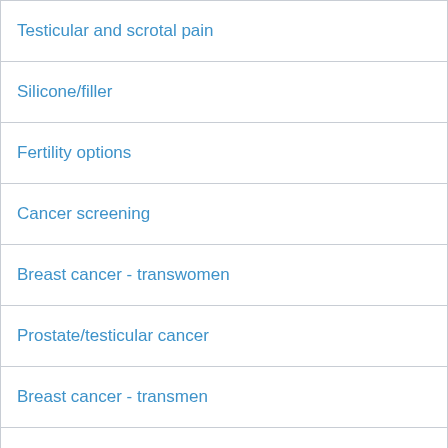| Testicular and scrotal pain |
| Silicone/filler |
| Fertility options |
| Cancer screening |
| Breast cancer - transwomen |
| Prostate/testicular cancer |
| Breast cancer - transmen |
| Cervical cancer |
| Ovarian and endometrial cancer |
| Mental health considerations |